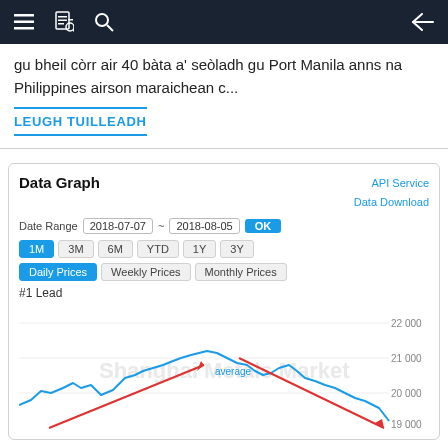Navigation bar with menu, document, search icons and back arrow
gu bheil còrr air 40 bàta a' seòladh gu Port Manila anns na Philippines airson maraichean c...
LEUGH TUILLEADH
[Figure (line-chart): Line chart showing #1 Lead daily prices from 2018-07-07 to 2018-08-05. Blue line showing price fluctuations between approximately 19000 and 21500, with a red arrow pointing up labeled 'average' and another red arrow pointing down. Y-axis shows values: 22 000, 21 000, 20 000, 19 000. Watermark: Shanghai Metals Market.]